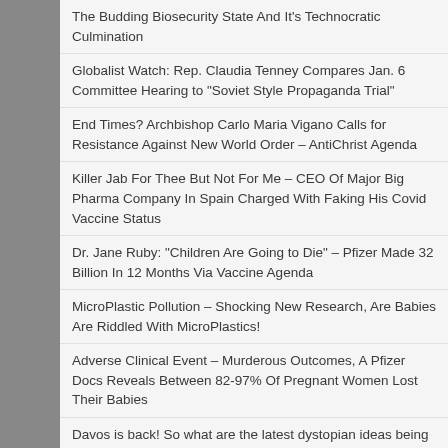The Budding Biosecurity State And It's Technocratic Culmination
Globalist Watch: Rep. Claudia Tenney Compares Jan. 6 Committee Hearing to "Soviet Style Propaganda Trial"
End Times? Archbishop Carlo Maria Vigano Calls for Resistance Against New World Order – AntiChrist Agenda
Killer Jab For Thee But Not For Me – CEO Of Major Big Pharma Company In Spain Charged With Faking His Covid Vaccine Status
Dr. Jane Ruby: "Children Are Going to Die" – Pfizer Made 32 Billion In 12 Months Via Vaccine Agenda
MicroPlastic Pollution – Shocking New Research, Are Babies Are Riddled With MicroPlastics!
Adverse Clinical Event – Murderous Outcomes, A Pfizer Docs Reveals Between 82-97% Of Pregnant Women Lost Their Babies
Davos is back! So what are the latest dystopian ideas being discussed by Klaus and his WEF billionaire buddies?
Occupied USA: In The Land Of Due Process – Former Trump adviser Peter Navarro: "They Put Me In Handcuffs, They Bring Me Here, They Put Me In Irons, They Stick Me In A Cell."
Shock Claim: Death By Shots and 5G – Monkeypox As Weapon Of Mass Destruction?
The Globalist Takeover Of The Food Source: A Modern-era Technocratic...